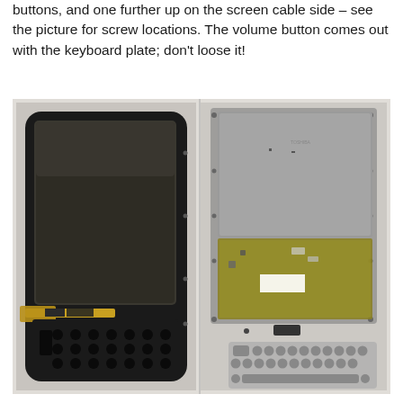buttons, and one further up on the screen cable side – see the picture for screw locations. The volume button comes out with the keyboard plate; don't loose it!
[Figure (photo): Two disassembled handheld device components laid on a white surface. Left: the front frame/bezel of a smartphone-like device with screen removed, showing the LCD panel area and a physical QWERTY keyboard cutout at the bottom, with a flex cable ribbon visible. Right: the back metal plate/keyboard frame of the device showing circuit board areas (PCB with gold-colored sections), screw holes along the edges, and a separate rubber keyboard key pad sheet at the bottom.]